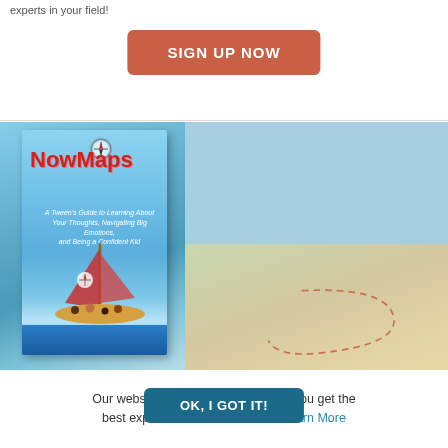experts in your field!
SIGN UP NOW
[Figure (illustration): NowMaps book cover showing a book titled 'NowMaps: A Tween's Guide to Learning About Your Thoughts, Navigating Big Emotions, and Being a Confident Kid' with characters on a sailboat, next to an image of a sandy path with a dashed trail and the text 'Order Today!']
Our website uses cookies to ensure you get the best experience on our website. Learn More
OK, I GOT IT!